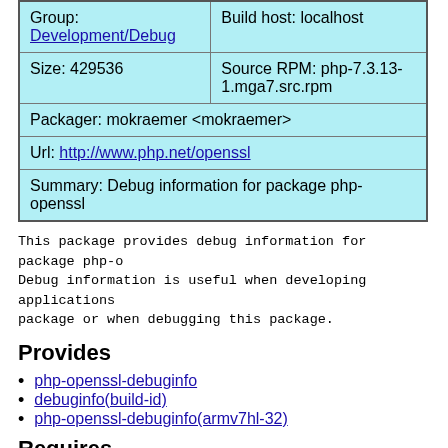| Group:
Development/Debug | Build host: localhost |
| Size: 429536 | Source RPM: php-7.3.13-1.mga7.src.rpm |
| Packager: mokraemer <mokraemer> |  |
| Url: http://www.php.net/openssl |  |
| Summary: Debug information for package php-openssl |  |
This package provides debug information for package php-o
Debug information is useful when developing applications
package or when debugging this package.
Provides
php-openssl-debuginfo
debuginfo(build-id)
php-openssl-debuginfo(armv7hl-32)
Requires
php-debuginfo(armv7hl-32) = 2:7.3.13-1.mga7